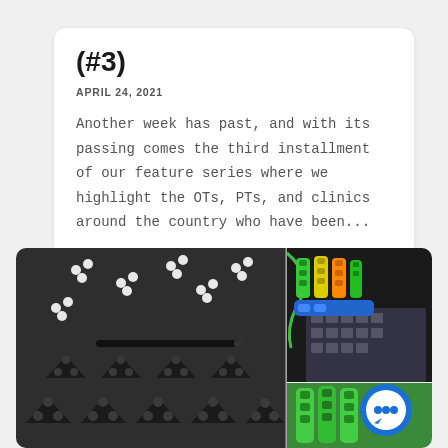(#3)
APRIL 24, 2021
Another week has past, and with its passing comes the third installment of our feature series where we highlight the OTs, PTs, and clinics around the country who have been...
[Figure (photo): Left: Dark foam tray with triangular black foam inserts and small white ball-shaped pieces scattered around, plus a black pen/tool. Right top: Hand wearing colorful green, yellow, orange, and blue finger orthotic devices near a keyboard. Right bottom: Green finger orthotics closeup.]